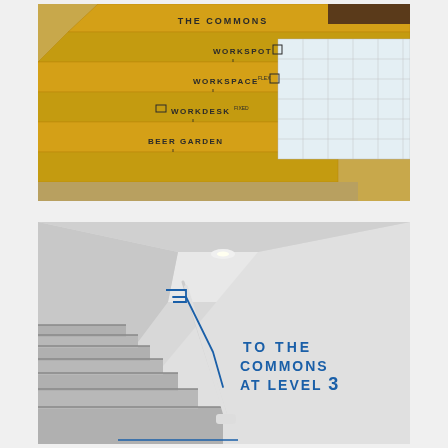[Figure (photo): Photo of yellow staircase steps used as directional signage panels. Text on the steps reads: THE COMMONS, WORKSPOT (with icon), WORKSPACE (with icon), WORKDESK (with icon), BEER GARDEN. A glass block window is visible on the right side.]
[Figure (photo): Photo of a stairwell interior with white walls and concrete steps. A handrail follows the stairs upward. On the right wall, blue text reads: TO THE COMMONS AT LEVEL 3, with a blue line graphic tracing the handrail path.]